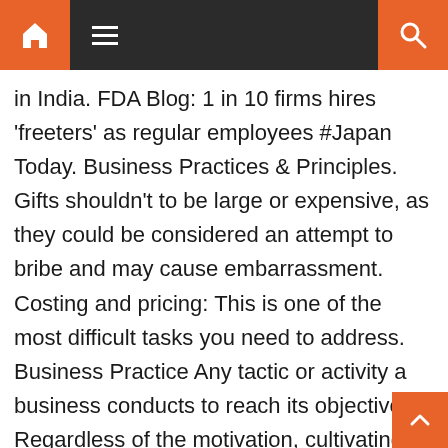Navigation bar with home, menu, and search icons
in India. FDA Blog: 1 in 10 firms hires 'freeters' as regular employees #Japan Today. Business Practices & Principles. Gifts shouldn't to be large or expensive, as they could be considered an attempt to bribe and may cause embarrassment. Costing and pricing: This is one of the most difficult tasks you need to address. Business Practice Any tactic or activity a business conducts to reach its objectives. Regardless of the motivation, cultivating an external view of your industry and competitors is a valuable part of effective management practices in a world that is constantly changing. You raise the bar of performance and set new standards of excellence to propel your company forward. Improves Performance: When your business looks for best practices outside your business, a wonderful thing happens. When